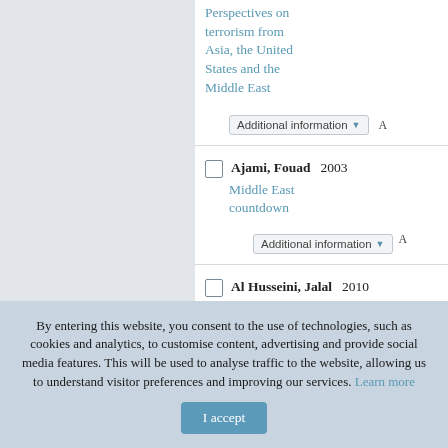Perspectives on terrorism from Asia, the United States and the Middle East
Additional information
Ajami, Fouad 2003 Middle East countdown | Additional information
Al Husseini, Jalal 2010 Dynamics of humanitarian aid, local and... | Additional information
By entering this website, you consent to the use of technologies, such as cookies and analytics, to customise content, advertising and provide social media features. This will be used to analyse traffic to the website, allowing us to understand visitor preferences and improving our services. Learn more